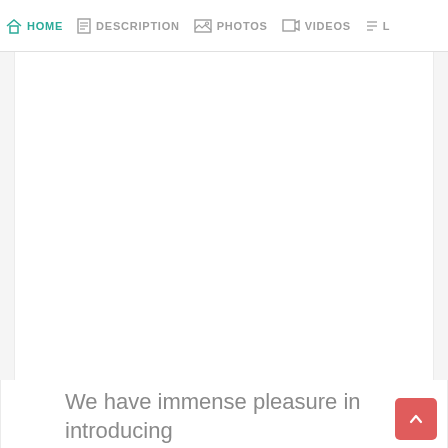HOME  DESCRIPTION  PHOTOS  VIDEOS  L
[Figure (other): Large white blank content area, likely a photo/map placeholder]
We have immense pleasure in introducing